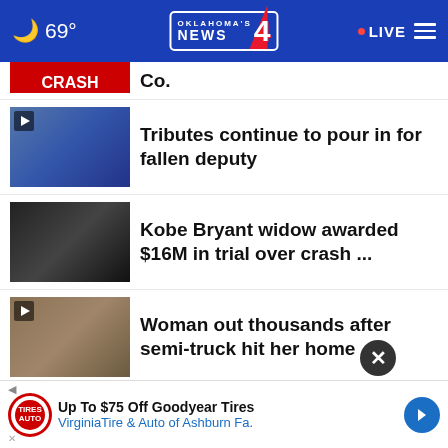69° Oklahoma's News 4 • LIVE
Co.
Tributes continue to pour in for fallen deputy
Kobe Bryant widow awarded $16M in trial over crash ...
Woman out thousands after semi-truck hit her home
DEQ issues $6 million fine after hand sanitizer fire
Teacher of the Year shares te...hers'
Up To $75 Off Goodyear Tires VirginiaTire & Auto of Ashburn Fa.